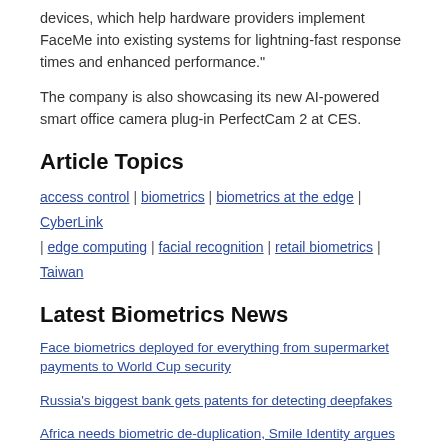devices, which help hardware providers implement FaceMe into existing systems for lightning-fast response times and enhanced performance."
The company is also showcasing its new AI-powered smart office camera plug-in PerfectCam 2 at CES.
Article Topics
access control | biometrics | biometrics at the edge | CyberLink | edge computing | facial recognition | retail biometrics | Taiwan
Latest Biometrics News
Face biometrics deployed for everything from supermarket payments to World Cup security
Russia's biggest bank gets patents for detecting deepfakes
Africa needs biometric de-duplication, Smile Identity argues
Mexican soccer removes face biometrics from Fan ID security scheme